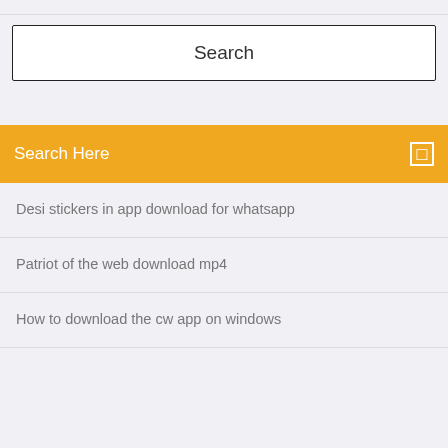Search
Search Here
Desi stickers in app download for whatsapp
Patriot of the web download mp4
How to download the cw app on windows